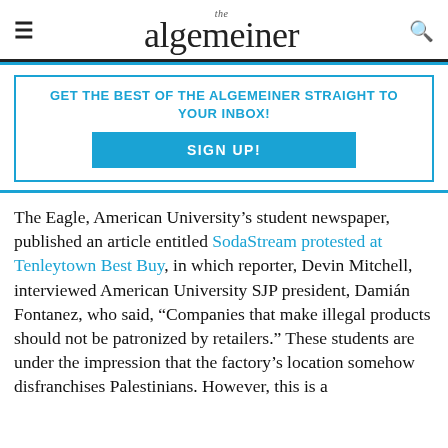the algemeiner
GET THE BEST OF THE ALGEMEINER STRAIGHT TO YOUR INBOX!
SIGN UP!
The Eagle, American University’s student newspaper, published an article entitled SodaStream protested at Tenleytown Best Buy, in which reporter, Devin Mitchell, interviewed American University SJP president, Damián Fontanez, who said, “Companies that make illegal products should not be patronized by retailers.” These students are under the impression that the factory’s location somehow disfranchises Palestinians. However, this is a